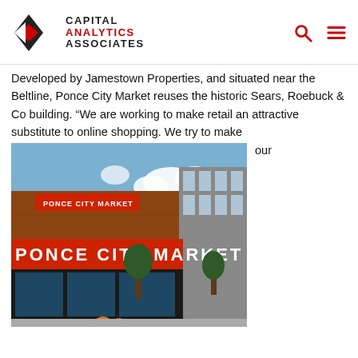[Figure (logo): Capital Analytics Associates logo with geometric diamond/arrow shape in black and red, followed by text CAPITAL ANALYTICS ASSOCIATES]
Developed by Jamestown Properties, and situated near the Beltline, Ponce City Market reuses the historic Sears, Roebuck & Co building. “We are working to make retail an attractive substitute to online shopping. We try to make our environment surprising, challenging and exciting.” Matt Bronfman, CEO of Jamestown Properties told Focus: Atlanta. The idea of combining popular retail stores other attractions, such as high-end restaurants, leis pursuits and even live concerts is one taking off acro…
[Figure (photo): Exterior photo of Ponce City Market building, a large brick building with large white letters spelling PONCE CITY MARKET on its facade, with trees and blue sky in background]